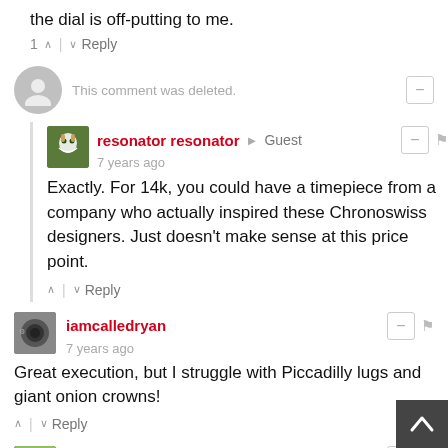the dial is off-putting to me.
1 ∧ | ∨ Reply
This comment was deleted.
resonator resonator → Guest
7 years ago
Exactly. For 14k, you could have a timepiece from a company who actually inspired these Chronoswiss designers. Just doesn't make sense at this price point.
∧ | ∨ Reply
iamcalledryan
7 years ago
Great execution, but I struggle with Piccadilly lugs and giant onion crowns!
∧ | ∨ Reply
Shinytoys
7 years ago
I do love jump hour pieces, and this one is no exceptio